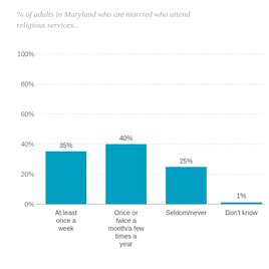[Figure (bar-chart): % of adults in Maryland who are married who attend religious services...]